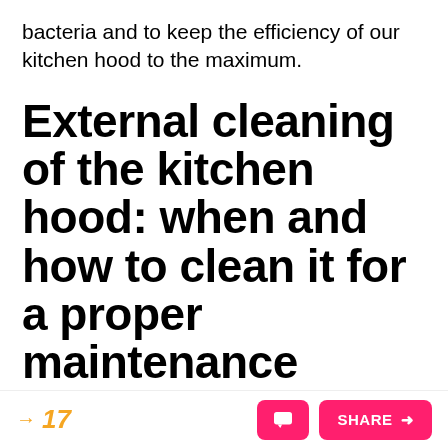bacteria and to keep the efficiency of our kitchen hood to the maximum.
External cleaning of the kitchen hood: when and how to clean it for a proper maintenance
The outer part of the kitchen hood is visible and must be cleaned at least once a week, or after each frying, thus avoiding the formation
→ 17   [comment button] SHARE →